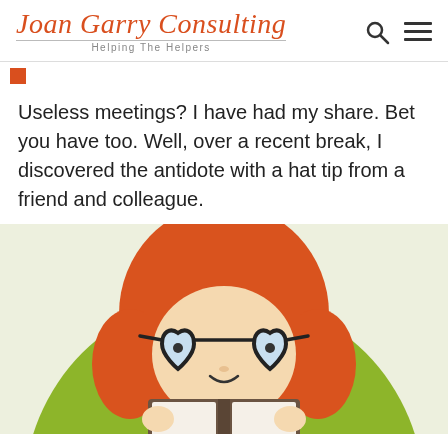Joan Garry Consulting — Helping The Helpers
Useless meetings? I have had my share. Bet you have too. Well, over a recent break, I discovered the antidote with a hat tip from a friend and colleague.
[Figure (illustration): Cartoon illustration of a red-haired girl with heart-shaped glasses reading a book, set inside a green circle on a light green background.]